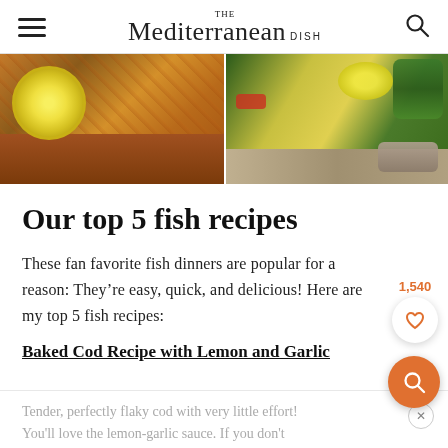THE Mediterranean DISH
[Figure (photo): Two food photos side by side: left shows baked fish with lemon slice and red spice crust, right shows a tray with lemon, herbs, and fish]
Our top 5 fish recipes
These fan favorite fish dinners are popular for a reason: They're easy, quick, and delicious! Here are my top 5 fish recipes:
Baked Cod Recipe with Lemon and Garlic
Tender, perfectly flaky cod with very little effort! You'll love the lemon-garlic sauce. If you don't